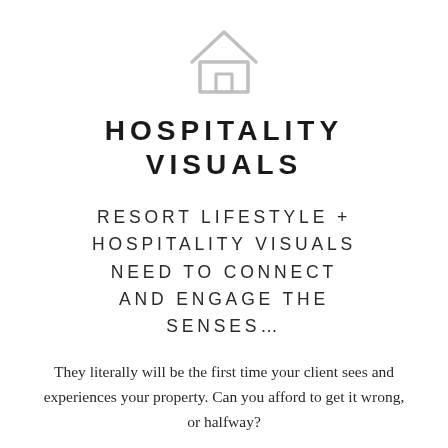[Figure (illustration): A simple outline house/home icon in light gray]
HOSPITALITY VISUALS
RESORT LIFESTYLE + HOSPITALITY VISUALS NEED TO CONNECT AND ENGAGE THE SENSES…
They literally will be the first time your client sees and experiences your property. Can you afford to get it wrong, or halfway?